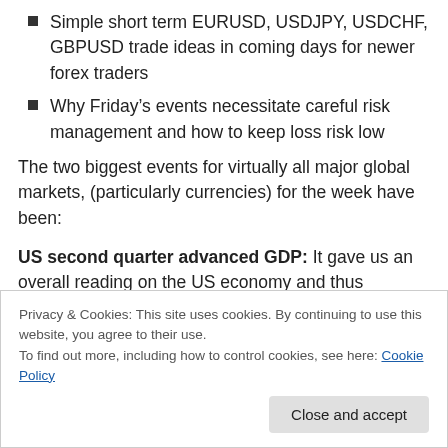Simple short term EURUSD, USDJPY, USDCHF, GBPUSD trade ideas in coming days for newer forex traders
Why Friday's events necessitate careful risk management and how to keep loss risk low
The two biggest events for virtually all major global markets, (particularly currencies) for the week have been:
US second quarter advanced GDP: It gave us an overall reading on the US economy and thus potentially influenced the timing and amount of the coming US rate
Privacy & Cookies: This site uses cookies. By continuing to use this website, you agree to their use.
To find out more, including how to control cookies, see here: Cookie Policy